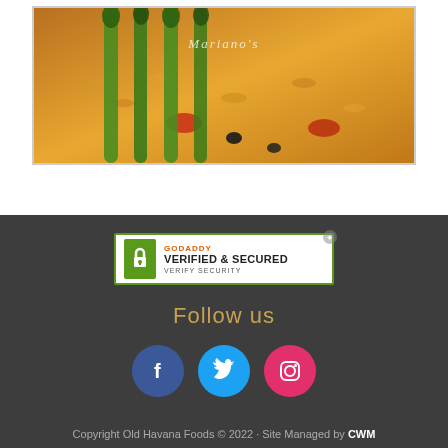[Figure (photo): Food photo showing a rice dish (paella-style) with green asparagus on top, served on a plate. Mariano's logo watermark visible in the upper area of the image.]
[Figure (logo): GoDaddy Verified & Secured badge with green lock icon, orange GoDaddy text, bold black VERIFIED & SECURED text, and VERIFY SECURITY below.]
Follow us
[Figure (infographic): Three circular social media icons: Facebook (dark blue with f), Twitter (light blue with bird), Instagram (pink/red with camera icon)]
Copyright Old Havana Foods © 2022 · Site Managed by CWM